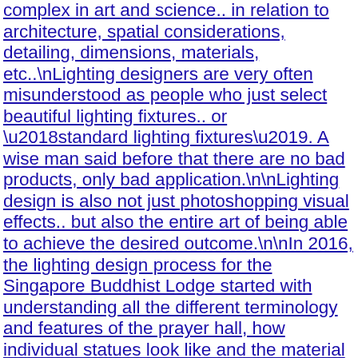complex in art and science.. in relation to architecture, spatial considerations, detailing, dimensions, materials, etc..\nLighting designers are very often misunderstood as people who just select beautiful lighting fixtures.. or \u2018standard lighting fixtures\u2019. A wise man said before that there are no bad products, only bad application.\n\nLighting design is also not just photoshopping visual effects.. but also the entire art of being able to achieve the desired outcome.\n\nIn 2016, the lighting design process for the Singapore Buddhist Lodge started with understanding all the different terminology and features of the prayer hall, how individual statues look like and the material and colour. Interior designer, Katherine from Shanghai Interior circle was really patient to bring us to another temple project for reference and also took us through patiently to understanding the various elements, motives in the space. We next studied all the existing statues which will be placed in the prayer hall, studied the size and the 3D elements and studied the drawings\/sections and then worked on the concept, renderings, drawings, details which will conceal the lighting fixtures.\n\nPresentation was made to the client. Several presentations on the opportunities of how beautiful the prayer hall can be while addressing the needs\/ functions of the client and the Budget required. We also tried to explain the importance of lighting quality and tools that we need. We sincerely thank our client, Singapore Buddhist Lodge\u2019s committee and chairman who took the leap of faith with us... as the outcome can